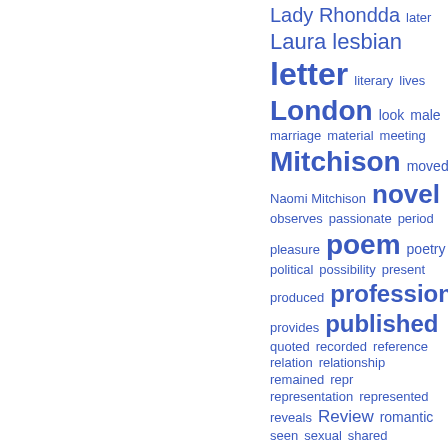[Figure (infographic): A word cloud (tag cloud) showing various literary and academic terms in different font sizes, all in blue. Larger words include: letter, London, Mitchison, novel, poem, professional, published. Medium words include: Lady Rhondda, Laura, lesbian, literary, lives, look, male, marriage, material, meeting, moved, Naomi Mitchison, observes, passionate, period, pleasure, poetry, political, possibility, present, produced, provides, quoted, recorded, reference, relation, relationship, remained, repr, representation, represented, reveals, Review, romantic, seen, sexual, shared.]